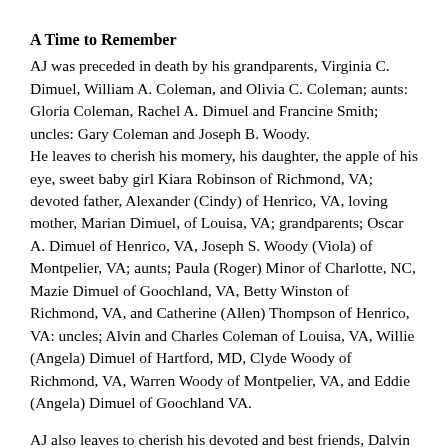A Time to Remember
AJ was preceded in death by his grandparents, Virginia C. Dimuel, William A. Coleman, and Olivia C. Coleman; aunts: Gloria Coleman, Rachel A. Dimuel and Francine Smith; uncles: Gary Coleman and Joseph B. Woody.
He leaves to cherish his momery, his daughter, the apple of his eye, sweet baby girl Kiara Robinson of Richmond, VA; devoted father, Alexander (Cindy) of Henrico, VA, loving mother, Marian Dimuel, of Louisa, VA; grandparents; Oscar A. Dimuel of Henrico, VA, Joseph S. Woody (Viola) of Montpelier, VA; aunts; Paula (Roger) Minor of Charlotte, NC, Mazie Dimuel of Goochland, VA, Betty Winston of Richmond, VA, and Catherine (Allen) Thompson of Henrico, VA: uncles; Alvin and Charles Coleman of Louisa, VA, Willie (Angela) Dimuel of Hartford, MD, Clyde Woody of Richmond, VA, Warren Woody of Montpelier, VA, and Eddie (Angela) Dimuel of Goochland VA.
AJ also leaves to cherish his devoted and best friends, Dalvin “DJ” Jones of Richmond, VA and D’Vell Hinson of Richmond, VA, along with a host of close cousins, relatives and friends.